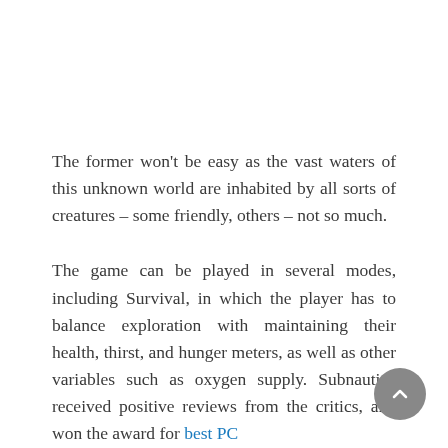The former won't be easy as the vast waters of this unknown world are inhabited by all sorts of creatures – some friendly, others – not so much.
The game can be played in several modes, including Survival, in which the player has to balance exploration with maintaining their health, thirst, and hunger meters, as well as other variables such as oxygen supply. Subnautica received positive reviews from the critics, and won the award for best PC